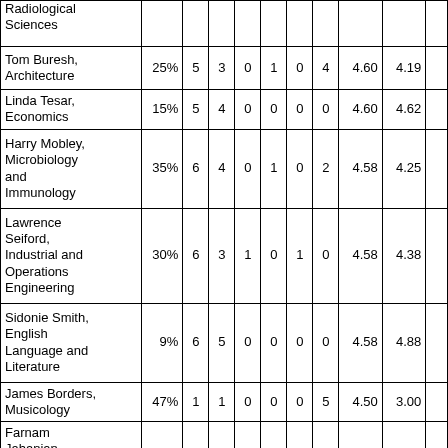| Radiological Sciences |  |  |  |  |  |  |  |  |  |
| Tom Buresh, Architecture | 25% | 5 | 3 | 0 | 1 | 0 | 4 | 4.60 | 4.19 |  |
| Linda Tesar, Economics | 15% | 5 | 4 | 0 | 0 | 0 | 0 | 4.60 | 4.62 |  |
| Harry Mobley, Microbiology and Immunology | 35% | 6 | 4 | 0 | 1 | 0 | 2 | 4.58 | 4.25 |  |
| Lawrence Seiford, Industrial and Operations Engineering | 30% | 6 | 3 | 1 | 0 | 1 | 0 | 4.58 | 4.38 |  |
| Sidonie Smith, English Language and Literature | 9% | 6 | 5 | 0 | 0 | 0 | 0 | 4.58 | 4.88 |  |
| James Borders, Musicology | 47% | 1 | 1 | 0 | 0 | 0 | 5 | 4.50 | 3.00 |  |
| Farnam Jahanian, |  |  |  |  |  |  |  |  |  |  |